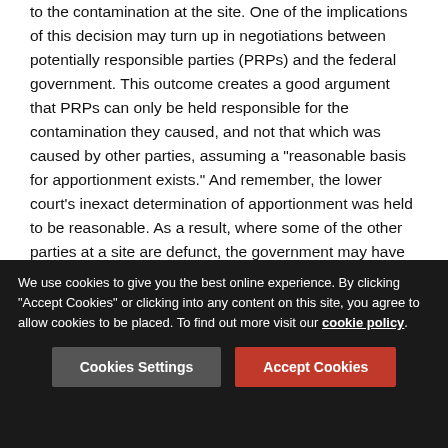to the contamination at the site. One of the implications of this decision may turn up in negotiations between potentially responsible parties (PRPs) and the federal government. This outcome creates a good argument that PRPs can only be held responsible for the contamination they caused, and not that which was caused by other parties, assuming a "reasonable basis for apportionment exists." And remember, the lower court's inexact determination of apportionment was held to be reasonable. As a result, where some of the other parties at a site are defunct, the government may have to pick up the "orphan" share, that is, the defunct parties' share of the costs.
[Figure (other): Social sharing icon bar with save, external link, email, print, share, add, and thumbs-up icons separated by vertical dividers]
Filed under
We use cookies to give you the best online experience. By clicking "Accept Cookies" or clicking into any content on this site, you agree to allow cookies to be placed. To find out more visit our cookie policy.